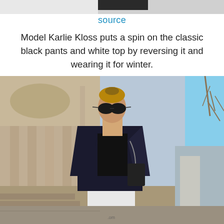[Figure (photo): Partial top of previous image showing dark background, cropped at the very top of the page]
source
Model Karlie Kloss puts a spin on the classic black pants and white top by reversing it and wearing it for winter.
[Figure (photo): Photo of model Karlie Kloss standing outdoors in front of a classical stone building. She is wearing a dark navy blazer over a black top, white pants, and large dark sunglasses, carrying a chain-strap bag. The background shows a blurred architectural facade with columns and bare trees.]